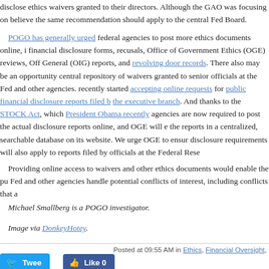disclose ethics waivers granted to their directors. Although the GAO was focusing on believe the same recommendation should apply to the central Fed Board.
POGO has generally urged federal agencies to post more ethics documents online, including financial disclosure forms, recusals, Office of Government Ethics (OGE) reviews, Office of Inspector General (OIG) reports, and revolving door records. There also may be an opportunity for a central repository of waivers granted to senior officials at the Fed and other agencies. OGE recently started accepting online requests for public financial disclosure reports filed by officials in the executive branch. And thanks to the STOCK Act, which President Obama recently signed, agencies are now required to post the actual disclosure reports online, and OGE will eventually host the reports in a centralized, searchable database on its website. We urge OGE to ensure that its disclosure requirements will also apply to reports filed by officials at the Federal Reserve.
Providing online access to waivers and other ethics documents would enable the public to see how the Fed and other agencies handle potential conflicts of interest, including conflicts that ar...
Michael Smallberg is a POGO investigator.
Image via DonkeyHotey.
Posted at 09:55 AM in Ethics, Financial Oversight,